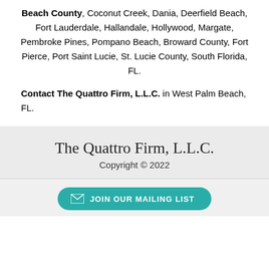Beach County, Coconut Creek, Dania, Deerfield Beach, Fort Lauderdale, Hallandale, Hollywood, Margate, Pembroke Pines, Pompano Beach, Broward County, Fort Pierce, Port Saint Lucie, St. Lucie County, South Florida, FL.
Contact The Quattro Firm, L.L.C. in West Palm Beach, FL.
The Quattro Firm, L.L.C. Copyright © 2022
JOIN OUR MAILING LIST